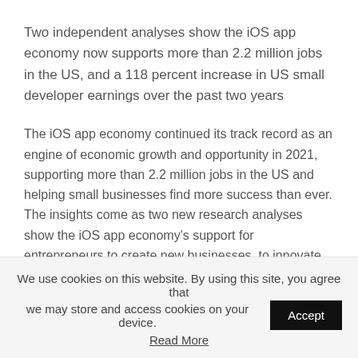Two independent analyses show the iOS app economy now supports more than 2.2 million jobs in the US, and a 118 percent increase in US small developer earnings over the past two years
The iOS app economy continued its track record as an engine of economic growth and opportunity in 2021, supporting more than 2.2 million jobs in the US and helping small businesses find more success than ever. The insights come as two new research analyses show the iOS app economy's support for entrepreneurs to create new businesses, to innovate and reach customers
We use cookies on this website. By using this site, you agree that we may store and access cookies on your device. Accept
Read More